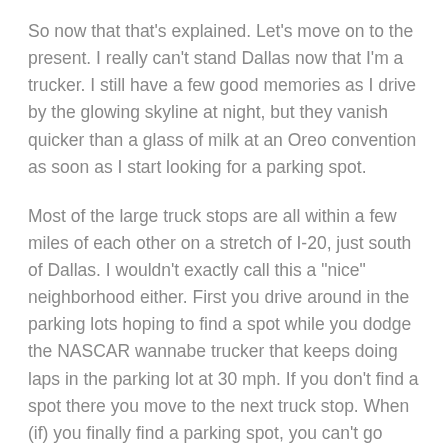So now that that's explained. Let's move on to the present. I really can't stand Dallas now that I'm a trucker. I still have a few good memories as I drive by the glowing skyline at night, but they vanish quicker than a glass of milk at an Oreo convention as soon as I start looking for a parking spot.
Most of the large truck stops are all within a few miles of each other on a stretch of I-20, just south of Dallas. I wouldn't exactly call this a "nice" neighborhood either. First you drive around in the parking lots hoping to find a spot while you dodge the NASCAR wannabe trucker that keeps doing laps in the parking lot at 30 mph. If you don't find a spot there you move to the next truck stop. When (if) you finally find a parking spot, you can't go through the night without at least one knock on